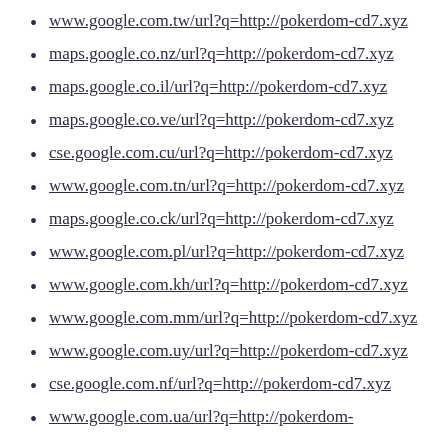www.google.com.tw/url?q=http://pokerdom-cd7.xyz
maps.google.co.nz/url?q=http://pokerdom-cd7.xyz
maps.google.co.il/url?q=http://pokerdom-cd7.xyz
maps.google.co.ve/url?q=http://pokerdom-cd7.xyz
cse.google.com.cu/url?q=http://pokerdom-cd7.xyz
www.google.com.tn/url?q=http://pokerdom-cd7.xyz
maps.google.co.ck/url?q=http://pokerdom-cd7.xyz
www.google.com.pl/url?q=http://pokerdom-cd7.xyz
www.google.com.kh/url?q=http://pokerdom-cd7.xyz
www.google.com.mm/url?q=http://pokerdom-cd7.xyz
www.google.com.uy/url?q=http://pokerdom-cd7.xyz
cse.google.com.nf/url?q=http://pokerdom-cd7.xyz
www.google.com.ua/url?q=http://pokerdom-